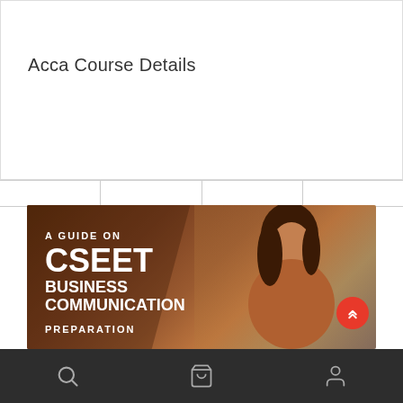Acca Course Details
READ MORE
[Figure (illustration): Promotional banner for CSEET Business Communication Preparation guide, showing a woman studying at a desk with text overlay: A GUIDE ON CSEET BUSINESS COMMUNICATION PREPARATION]
Bottom navigation bar with search, cart, and user profile icons